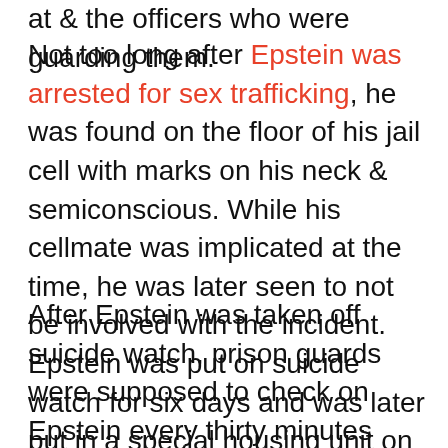at & the officers who were guarding them.
Not too long after Epstein was arrested for sex trafficking, he was found on the floor of his jail cell with marks on his neck & semiconscious. While his cellmate was implicated at the time, he was later seen to not be involved with the incident. Epstein was put on suicide watch for six days and was later put in a special housing unit on July 29, 2019.
After Epstein was taken off suicide watch, prison guards were supposed to check on Epstein every thirty minutes and he was meant to have a new cellmate; however, on the night of his death,